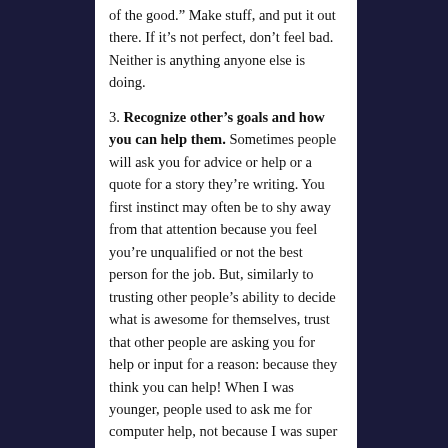of the good.”  Make stuff, and put it out there.  If it’s not perfect, don’t feel bad. Neither is anything anyone else is doing.
3. Recognize other’s goals and how you can help them.  Sometimes people will ask you for advice or help or a quote for a story they’re writing.  You first instinct may often be to shy away from that attention because you feel you’re unqualified or not the best person for the job.  But, similarly to trusting other people’s ability to decide what is awesome for themselves, trust that other people are asking you for help or input for a reason: because they think you can help! When I was younger, people used to ask me for computer help, not because I was super awesome at computers, but because I *was* super awesome at explaining how to operate computers in an accessible, approachable way.  When, for example, a reporter emails you looking for a quote on Something Related to Something You Work On, they’re not necessarily looking for the World’s Greatest Expert On That Something. They’re looking for a quote because they